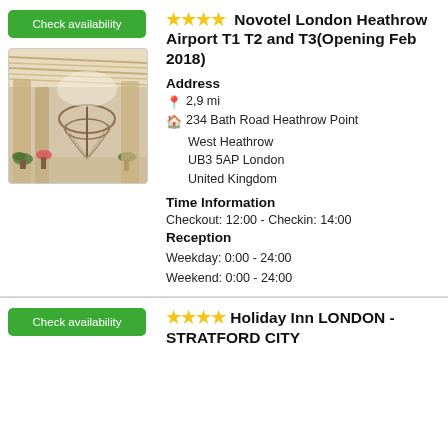[Figure (photo): Hotel interior lobby photo showing spiral staircase, wooden slat ceiling and plant decorations]
Novotel London Heathrow Airport T1 T2 and T3(Opening Feb 2018)
Address
2,9 mi
234 Bath Road Heathrow Point West Heathrow
UB3 5AP London
United Kingdom
Time Information
Checkout: 12:00 - Checkin: 14:00
Reception
Weekday: 0:00 - 24:00
Weekend: 0:00 - 24:00
Holiday Inn LONDON - STRATFORD CITY